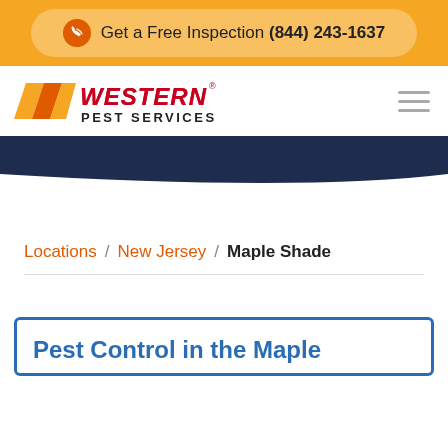Get a Free Inspection (844) 243-1637
[Figure (logo): Western Pest Services logo with orange diagonal stripe and red/black text]
Locations / New Jersey / Maple Shade
Pest Control in the Maple